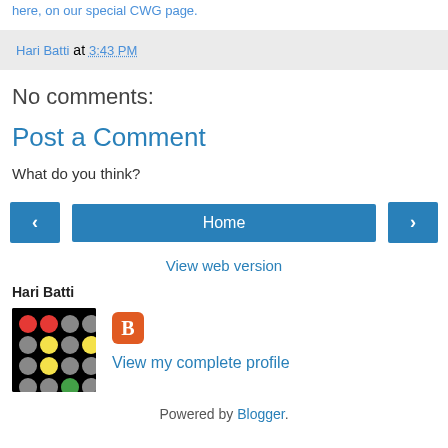here, on our special CWG page.
Hari Batti at 3:43 PM
No comments:
Post a Comment
What do you think?
[Figure (other): Navigation buttons: left arrow, Home, right arrow]
View web version
Hari Batti
[Figure (other): Profile photo showing a grid of colored circles (red, gray, yellow, green) on black background, and Blogger icon with View my complete profile link]
Powered by Blogger.